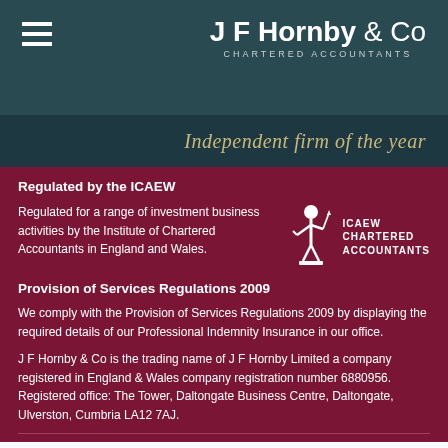J F Hornby & Co CHARTERED ACCOUNTANTS
Independent firm of the year
Regulated by the ICAEW
Regulated for a range of investment business activities by the Institute of Chartered Accountants in England and Wales.
[Figure (logo): ICAEW Chartered Accountants logo with statue figure and text ICAEW CHARTERED ACCOUNTANTS]
Provision of Services Regulations 2009
We comply with the Provision of Services Regulations 2009 by displaying the required details of our Professional Indemnity Insurance in our office.
J F Hornby & Co is the trading name of J F Hornby Limited a company registered in England & Wales company registration number 6880956. Registered office: The Tower, Daltongate Business Centre, Daltongate, Ulverston, Cumbria LA12 7AJ.